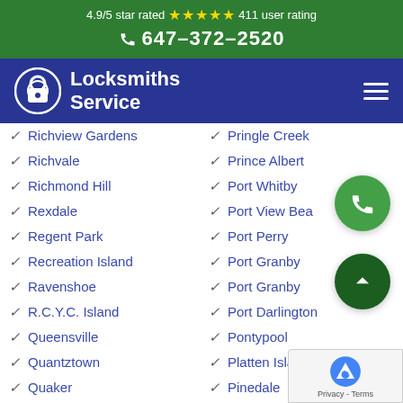4.9/5 star rated ★★★★★ 411 user rating
📞 647-372-2520
[Figure (logo): Locksmiths Service logo with padlock icon on dark blue nav bar]
Richview Gardens
Richvale
Richmond Hill
Rexdale
Regent Park
Recreation Island
Ravenshoe
R.C.Y.C. Island
Queensville
Quantztown
Quaker
Pringle Creek
Prince Albert
Port Whitby
Port View Beach
Port Perry
Port Granby
Port Granby
Port Darlington
Pontypool
Platten Island
Pinedale